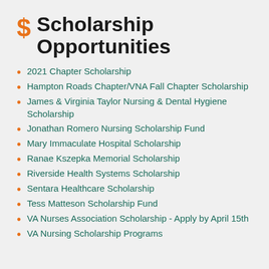$ Scholarship Opportunities
2021 Chapter Scholarship
Hampton Roads Chapter/VNA Fall Chapter Scholarship
James & Virginia Taylor Nursing & Dental Hygiene Scholarship
Jonathan Romero Nursing Scholarship Fund
Mary Immaculate Hospital Scholarship
Ranae Kszepka Memorial Scholarship
Riverside Health Systems Scholarship
Sentara Healthcare Scholarship
Tess Matteson Scholarship Fund
VA Nurses Association Scholarship - Apply by April 15th
VA Nursing Scholarship Programs